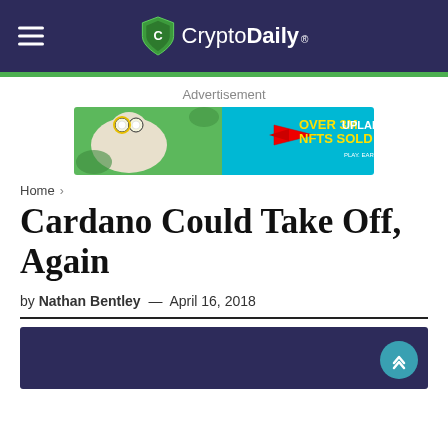CryptoDaily
Advertisement
[Figure (other): Advertisement banner: 'OVER 3M NFTS SOLD' Upland game advertisement with llama character on green/blue background]
Home
Cardano Could Take Off, Again
by Nathan Bentley — April 16, 2018
[Figure (photo): Article hero image with purple/dark blue background]